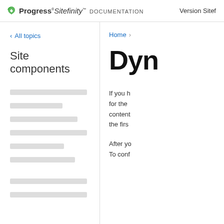Progress Sitefinity DOCUMENTATION   Version Sitef...
< All topics
Site components
[Figure (other): Loading skeleton bars representing a navigation list in the left sidebar]
Home >
Dyn
If you h... for the content the firs
After yo To conf